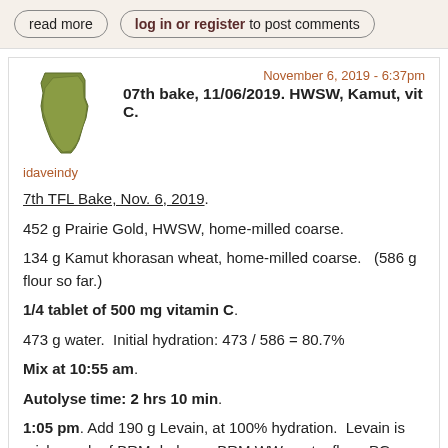read more
log in or register to post comments
November 6, 2019 - 6:37pm
07th bake, 11/06/2019. HWSW, Kamut, vit C.
idaveindy
7th TFL Bake, Nov. 6, 2019.
452 g Prairie Gold, HWSW, home-milled coarse.
134 g Kamut khorasan wheat, home-milled coarse.   (586 g flour so far.)
1/4 tablet of 500 mg vitamin C.
473 g water.  Initial hydration: 473 / 586 = 80.7%
Mix at 10:55 am.
Autolyse time: 2 hrs 10 min.
1:05 pm. Add 190 g Levain, at 100% hydration.  Levain is mish-mash of BRM dark rye, BRM WW pastry flour, PG, Kamut, white rice flour, and about 1 tsp each of BRM 1 to 1 GF flour.